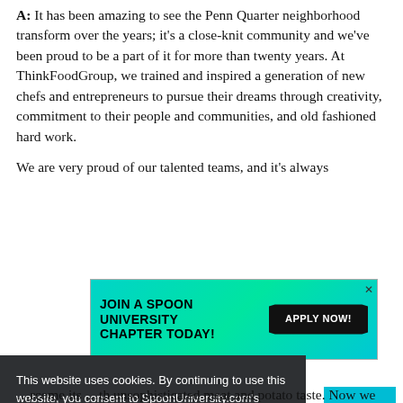A: It has been amazing to see the Penn Quarter neighborhood transform over the years; it's a close-knit community and we've been proud to be a part of it for more than twenty years. At ThinkFoodGroup, we trained and inspired a generation of new chefs and entrepreneurs to pursue their dreams through creativity, commitment to their people and communities, and old fashioned hard work.

We are very proud of our talented teams, and it's always
[Figure (other): Advertisement banner: JOIN A SPOON UNIVERSITY CHAPTER TODAY! with APPLY NOW! button on teal/green gradient background]
...scene to that
This website uses cookies. By continuing to use this website, you consent to SpoonUniversity.com's usage of cookies and similar technologies Learn more
Got it!
...overcome its ...th unsophisticated meat and potato taste. Now we are one